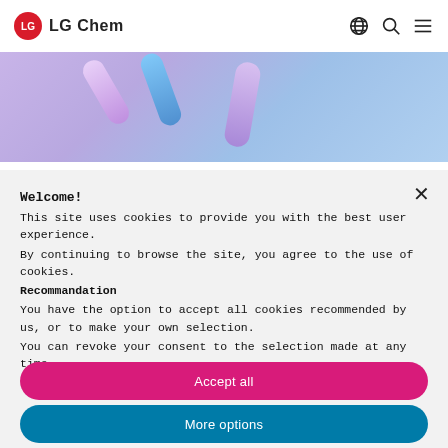LG Chem
[Figure (photo): Close-up photo of colorful cylindrical battery cells (purple, blue, lavender) on a light purple/blue background]
Welcome!
This site uses cookies to provide you with the best user experience. By continuing to browse the site, you agree to the use of cookies. Recommandation You have the option to accept all cookies recommended by us, or to make your own selection. You can revoke your consent to the selection made at any time.
Accept all
More options